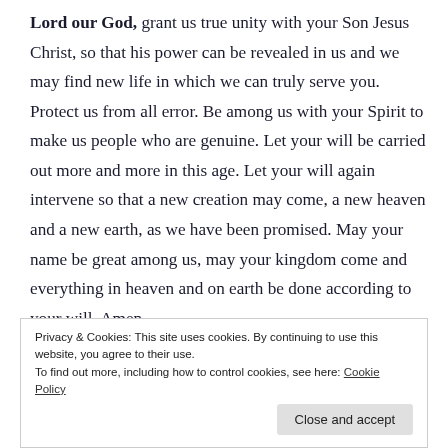Lord our God, grant us true unity with your Son Jesus Christ, so that his power can be revealed in us and we may find new life in which we can truly serve you. Protect us from all error. Be among us with your Spirit to make us people who are genuine. Let your will be carried out more and more in this age. Let your will again intervene so that a new creation may come, a new heaven and a new earth, as we have been promised. May your name be great among us, may your kingdom come and everything in heaven and on earth be done according to your will. Amen
Privacy & Cookies: This site uses cookies. By continuing to use this website, you agree to their use. To find out more, including how to control cookies, see here: Cookie Policy
Close and accept